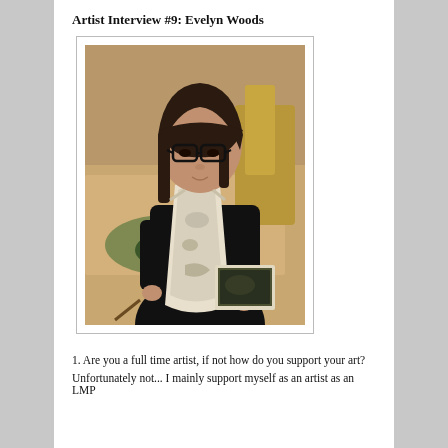Artist Interview #9: Evelyn Woods
[Figure (photo): Photograph of Evelyn Woods, a woman with dark hair and glasses, wearing a black long-sleeve shirt and a paint-stained white apron, sitting in a studio holding a paintbrush and a photograph, looking at the camera.]
1. Are you a full time artist, if not how do you support your art?
Unfortunately not... I mainly support myself as an artist as an LMP